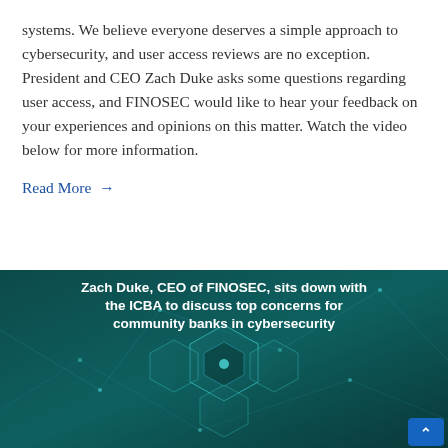systems. We believe everyone deserves a simple approach to cybersecurity, and user access reviews are no exception. President and CEO Zach Duke asks some questions regarding user access, and FINOSEC would like to hear your feedback on your experiences and opinions on this matter. Watch the video below for more information.
Read More →
[Figure (illustration): Dark teal/green background with glowing hexagonal network graphics and overlaid bold white text: 'Zach Duke, CEO of FINOSEC, sits down with the ICBA to discuss top concerns for community banks in cybersecurity'. A blue scroll-to-top button appears in the bottom-right corner.]